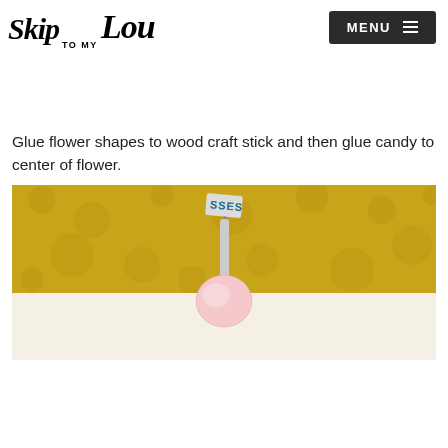Skip to my Lou — MENU
Glue flower shapes to wood craft stick and then glue candy to center of flower.
[Figure (photo): Photo showing a candy (labeled 'SSES') on a stick against a yellow textured background, with the bottom portion showing a white/pink round candy on a stick against a light beige background.]